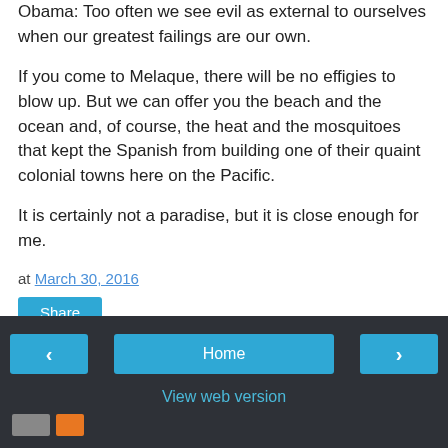Obama: Too often we see evil as external to ourselves when our greatest failings are our own.
If you come to Melaque, there will be no effigies to blow up. But we can offer you the beach and the ocean and, of course, the heat and the mosquitoes that kept the Spanish from building one of their quaint colonial towns here on the Pacific.
It is certainly not a paradise, but it is close enough for me.
at March 30, 2016
Share
< Home > View web version